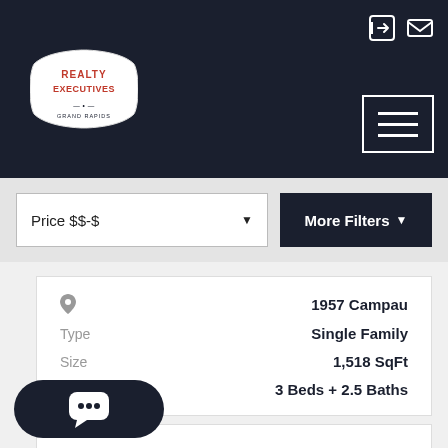[Figure (logo): Realty Executives logo badge in white with red text]
[Figure (screenshot): Top-right header icons: login arrow and envelope mail icon]
[Figure (screenshot): Hamburger menu button with three horizontal lines, white border box]
Price $$-$
More Filters
1957 Campau
Type   Single Family
Size   1,518 SqFt
Rooms   3 Beds + 2.5 Baths
[Figure (screenshot): Chat bubble button with three dots, dark rounded pill shape at bottom left]